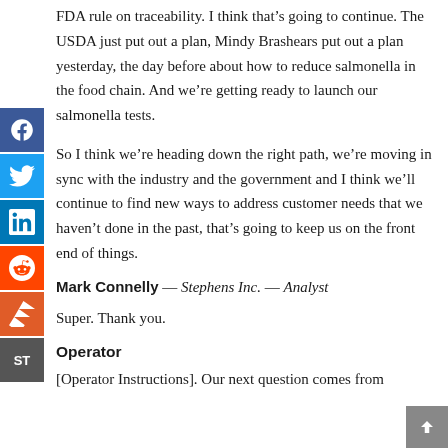FDA rule on traceability. I think that’s going to continue. The USDA just put out a plan, Mindy Brashears put out a plan yesterday, the day before about how to reduce salmonella in the food chain. And we’re getting ready to launch our salmonella tests.
So I think we’re heading down the right path, we’re moving in sync with the industry and the government and I think we’ll continue to find new ways to address customer needs that we haven’t done in the past, that’s going to keep us on the front end of things.
Mark Connelly — Stephens Inc. — Analyst
Super. Thank you.
Operator
[Operator Instructions]. Our next question comes from